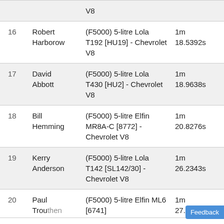| # | Driver | Car | Time |
| --- | --- | --- | --- |
|  |  | V8 |  |
| 16 | Robert Harborow | (F5000) 5-litre Lola T192 [HU19] - Chevrolet V8 | 1m 18.5392s |
| 17 | David Abbott | (F5000) 5-litre Lola T430 [HU2] - Chevrolet V8 | 1m 18.9638s |
| 18 | Bill Hemming | (F5000) 5-litre Elfin MR8A-C [8772] - Chevrolet V8 | 1m 20.8276s |
| 19 | Kerry Anderson | (F5000) 5-litre Lola T142 [SL142/30] - Chevrolet V8 | 1m 26.2343s |
| 20 | Paul Trouthen | (F5000) 5-litre Elfin ML6 [6741] | 1m 27.1524... |